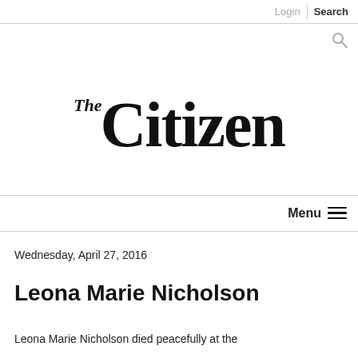Login | Search
[Figure (logo): The Citizen newspaper logo — stylized italic 'The' followed by large serif 'Citizen' wordmark]
Menu
Wednesday, April 27, 2016
Leona Marie Nicholson
Leona Marie Nicholson died peacefully at the